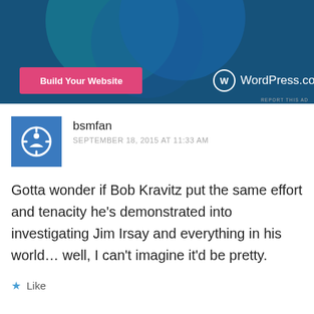[Figure (screenshot): Advertisement banner for WordPress.com with dark blue background, overlapping teal/blue circles, a pink 'Build Your Website' button, and the WordPress.com logo in white.]
REPORT THIS AD
bsmfan
SEPTEMBER 18, 2015 AT 11:33 AM
Gotta wonder if Bob Kravitz put the same effort and tenacity he's demonstrated into investigating Jim Irsay and everything in his world… well, I can't imagine it'd be pretty.
Like